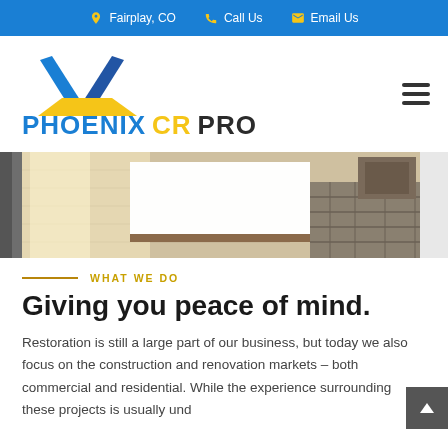Fairplay, CO   Call Us   Email Us
[Figure (logo): Phoenix CR Pro logo with blue and yellow mountain/chevron icon above company name in blue, yellow, and dark text]
[Figure (photo): Interior photo showing light wood flooring with sunlight, a white island or counter, and a decorative patterned rug in a modern room]
WHAT WE DO
Giving you peace of mind.
Restoration is still a large part of our business, but today we also focus on the construction and renovation markets – both commercial and residential. While the experience surrounding these projects is usually und…